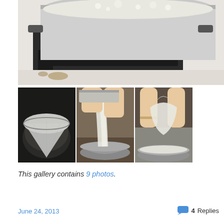[Figure (photo): Large pot with boiling liquid on a stovetop burner, viewed from above]
[Figure (photo): Bowl lined with white cheesecloth or strainer cloth]
[Figure (photo): Hands pouring white liquid (milk or cream) from a pan into a bowl]
[Figure (photo): Hands squeezing or wringing a white cloth/cheesecloth over a metal bowl]
This gallery contains 9 photos.
June 24, 2013
4 Replies